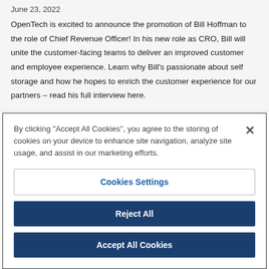June 23, 2022
OpenTech is excited to announce the promotion of Bill Hoffman to the role of Chief Revenue Officer! In his new role as CRO, Bill will unite the customer-facing teams to deliver an improved customer and employee experience. Learn why Bill's passionate about self storage and how he hopes to enrich the customer experience for our partners – read his full interview here.
By clicking "Accept All Cookies", you agree to the storing of cookies on your device to enhance site navigation, analyze site usage, and assist in our marketing efforts.
Cookies Settings
Reject All
Accept All Cookies